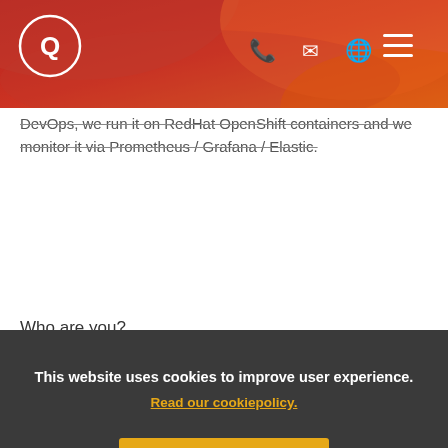Q logo and navigation icons (phone, email, globe, menu)
DevOps, we run it on RedHat OpenShift containers and we monitor it via Prometheus / Grafana / Elastic.
Who are you?
You are a strong java developer who knows how to build clean code and implement it according the SOLID principles. During the technical interview you will be heavily challenged on these skills. With a minimum 8 years’ experience in Java developing.
This website uses cookies to improve user experience.
Read our cookiepolicy.